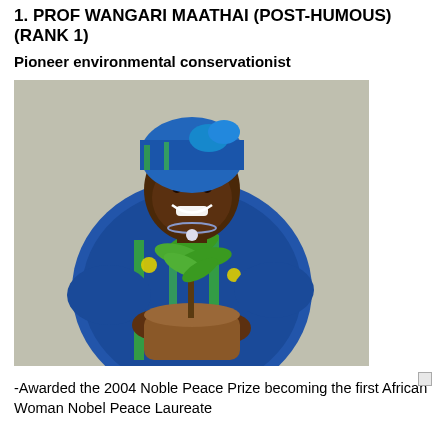1. PROF WANGARI MAATHAI (POST-HUMOUS) (RANK 1)
Pioneer environmental conservationist
[Figure (photo): Photo of Prof Wangari Maathai smiling, wearing a blue and green African print dress and matching headwrap, holding a small tree sapling in a brown fabric pot]
-Awarded the 2004 Noble Peace Prize becoming the first African Woman Nobel Peace Laureate